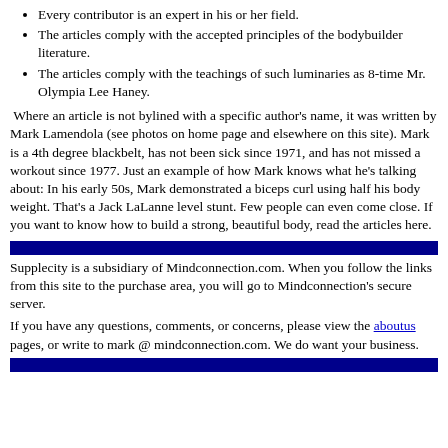Every contributor is an expert in his or her field.
The articles comply with the accepted principles of the bodybuilder literature.
The articles comply with the teachings of such luminaries as 8-time Mr. Olympia Lee Haney.
Where an article is not bylined with a specific author's name, it was written by Mark Lamendola (see photos on home page and elsewhere on this site). Mark is a 4th degree blackbelt, has not been sick since 1971, and has not missed a workout since 1977. Just an example of how Mark knows what he's talking about: In his early 50s, Mark demonstrated a biceps curl using half his body weight. That's a Jack LaLanne level stunt. Few people can even come close. If you want to know how to build a strong, beautiful body, read the articles here.
[Figure (other): Dark navy blue horizontal divider bar]
Supplecity is a subsidiary of Mindconnection.com. When you follow the links from this site to the purchase area, you will go to Mindconnection's secure server.
If you have any questions, comments, or concerns, please view the aboutus pages, or write to mark @ mindconnection.com. We do want your business.
[Figure (other): Dark navy blue horizontal divider bar]